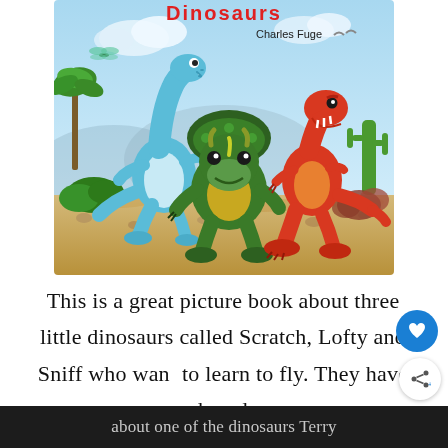[Figure (illustration): Book cover illustration showing three cartoon baby dinosaurs: a blue long-necked dinosaur (Lofty), a green triceratops (Sniff), and a red/orange T-Rex (Scratch), running across a desert landscape with palm trees and cacti. The book is titled 'Dinosaurs' by Charles Fuge.]
This is a great picture book about three little dinosaurs called Scratch, Lofty and Sniff who want to learn to fly. They have heard
about one of the dinosaurs Terry